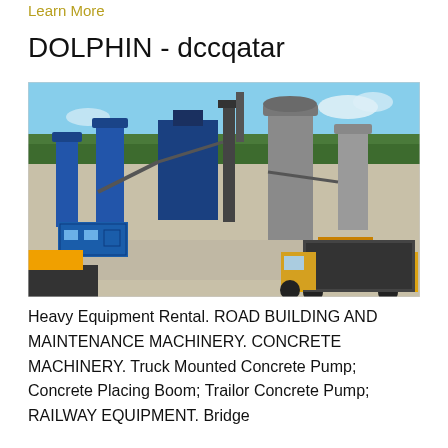Learn More
DOLPHIN - dccqatar
[Figure (photo): Aerial view of an industrial asphalt/concrete plant facility with blue silos, conveyor systems, large grey storage tanks, and yellow trucks on a paved yard surrounded by trees.]
Heavy Equipment Rental. ROAD BUILDING AND MAINTENANCE MACHINERY. CONCRETE MACHINERY. Truck Mounted Concrete Pump; Concrete Placing Boom; Trailor Concrete Pump; RAILWAY EQUIPMENT. Bridge